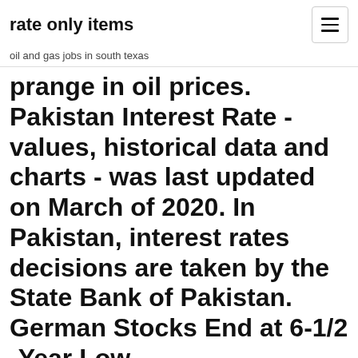rate only items
oil and gas jobs in south texas
prange in oil prices. Pakistan Interest Rate - values, historical data and charts - was last updated on March of 2020. In Pakistan, interest rates decisions are taken by the State Bank of Pakistan. German Stocks End at 6-1/2 -Year Low.
Get State Bank Of India historical price data for SBI stock. Investing.com has all the historical stock data including the closing price, open, high, low, change and   Discover historical prices for SBIN.NS stock on Yahoo Finance. View daily, weekly or monthly format back to when STATE BK OF INDIA stock was issued. State Bank of India (SBIN.NS) Summary · Chart · Conversations · Statistics · Historical Data · Profile · Financials ·